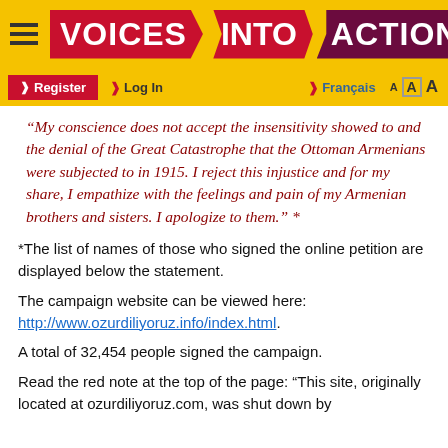VOICES INTO ACTION — Register | Log In | Français
“My conscience does not accept the insensitivity showed to and the denial of the Great Catastrophe that the Ottoman Armenians were subjected to in 1915. I reject this injustice and for my share, I empathize with the feelings and pain of my Armenian brothers and sisters. I apologize to them.” *
*The list of names of those who signed the online petition are displayed below the statement.
The campaign website can be viewed here: http://www.ozurdiliyoruz.info/index.html.
A total of 32,454 people signed the campaign.
Read the red note at the top of the page: “This site, originally located at ozurdiliyoruz.com, was shut down by